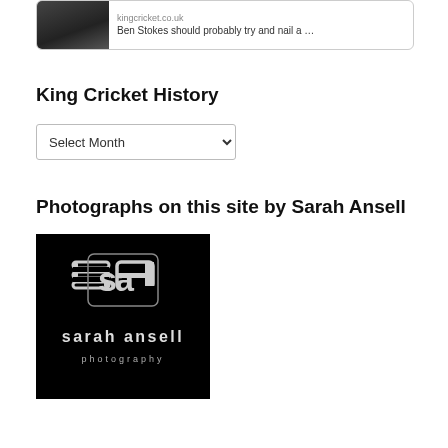[Figure (screenshot): Card snippet showing a photo of a man with sunglasses and text 'kingcricket.co.uk Ben Stokes should probably try and nail a ...']
King Cricket History
[Figure (screenshot): Dropdown select menu labeled 'Select Month']
Photographs on this site by Sarah Ansell
[Figure (logo): Sarah Ansell Photography logo — black background with stylized 'sa' monogram and text 'sarah ansell photography']